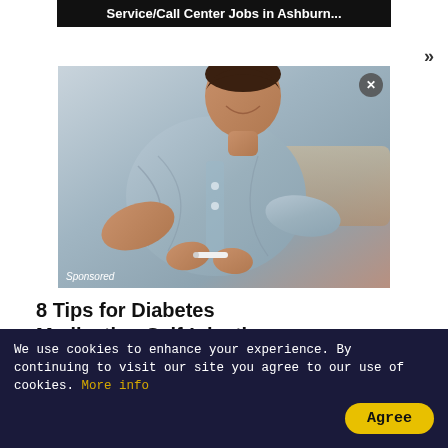Service/Call Center Jobs in Ashburn...
[Figure (photo): A man in a grey button-up shirt administering a self-injection at his abdomen, seated on a couch. Sponsored label in lower-left corner.]
8 Tips for Diabetes Medication Self-Injections
Healthgrades
We use cookies to enhance your experience. By continuing to visit our site you agree to our use of cookies. More info